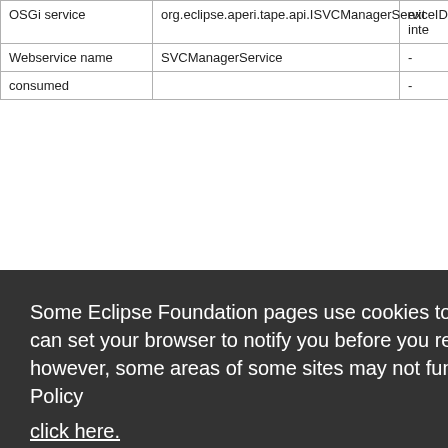| OSGi service | org.eclipse.aperi.tape.api.ISVCManagerServiceIDi | ext inte |
| Webservice name | SVCManagerService | - |
| consumed |  | - |
|  | IDiskSVCConfigurationService |  |
[Figure (screenshot): Cookie consent overlay from Eclipse Foundation website. Text reads: 'Some Eclipse Foundation pages use cookies to better serve you when you return to the site. You can set your browser to notify you before you receive a cookie or turn off cookies. If you do so, however, some areas of some sites may not function properly. To read Eclipse Foundation Privacy Policy click here.' Two buttons: 'Decline' (white) and 'Allow cookies' (orange).]